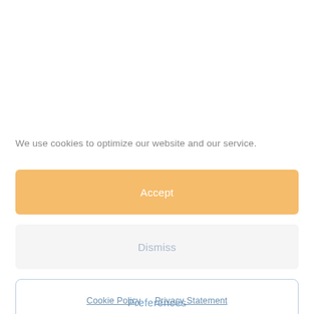We use cookies to optimize our website and our service.
Accept
Dismiss
Preferences
Cookie Policy   Privacy Statement